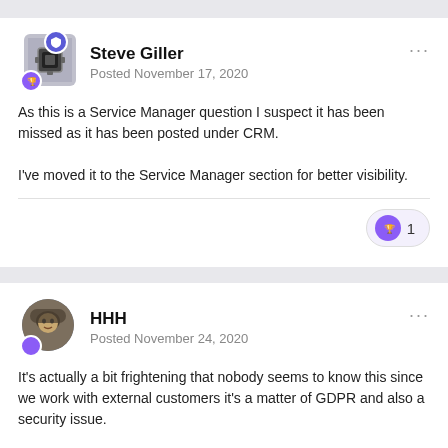Steve Giller
Posted November 17, 2020
As this is a Service Manager question I suspect it has been missed as it has been posted under CRM.

I've moved it to the Service Manager section for better visibility.
HHH
Posted November 24, 2020
It's actually a bit frightening that nobody seems to know this since we work with external customers it's a matter of GDPR and also a security issue.